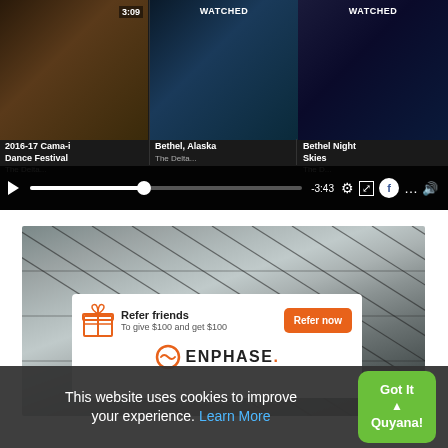[Figure (screenshot): Video player with three thumbnails: '2016-17 Cama-i Dance Festival', 'Bethel, Alaska', and 'Bethel Night Skies', with playback controls showing -3:43 timestamp, settings, Facebook, and volume icons.]
[Figure (screenshot): Enphase Energy advertisement overlay on solar panel background image. Shows a referral card: 'Refer friends - To give $100 and get $100' with an orange 'Refer now' button and Enphase logo. Background shows diagonal solar panels. Overlay text reads 'Join the energy revolution' and 'be your own source of power.']
This website uses cookies to improve your experience. Learn More